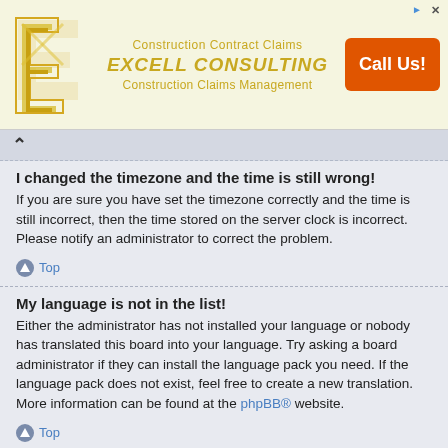[Figure (screenshot): Advertisement banner for Excell Consulting showing logo, text 'Construction Contract Claims', 'EXCELL CONSULTING', 'Construction Claims Management', and an orange 'Call Us!' button]
I changed the timezone and the time is still wrong!
If you are sure you have set the timezone correctly and the time is still incorrect, then the time stored on the server clock is incorrect. Please notify an administrator to correct the problem.
Top
My language is not in the list!
Either the administrator has not installed your language or nobody has translated this board into your language. Try asking a board administrator if they can install the language pack you need. If the language pack does not exist, feel free to create a new translation. More information can be found at the phpBB® website.
Top
What are the images next to my username?
There are two images which may appear along with a username when viewing posts. One of them may be an image associated with your rank, generally in the form of stars, blocks or dots, indicating how many posts you have made or your status on the board. Another, usually larger, image is known as an avatar and is generally unique or personal to each user.